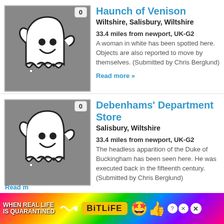Haunch of Venison
Wiltshire, Salisbury, Wiltshire
33.4 miles from newport, UK-G2
A woman in white has been spotted here. Objects are also reported to move by themselves. (Submitted by Chris Berglund)
Read more »
[Figure (illustration): Ghost cartoon icon on grey background with count badge showing 0]
Debenhams' Department Store
Salisbury, Wiltshire
33.4 miles from newport, UK-G2
The headless apparition of the Duke of Buckingham has been seen here. He was executed back in the fifteenth century. (Submitted by Chris Berglund)
[Figure (illustration): Ghost cartoon icon on grey background with count badge showing 0]
Read m
[Figure (infographic): Advertisement banner: WHEN REAL LIFE IS QUARANTINED - BitLife game ad with rainbow background and emoji characters]